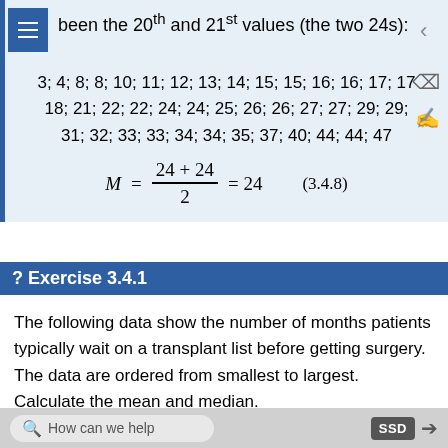been the 20th and 21st values (the two 24s):
3; 4; 8; 8; 10; 11; 12; 13; 14; 15; 15; 16; 16; 17; 17; 18; 21; 22; 22; 24; 24; 25; 26; 26; 27; 27; 29; 29; 31; 32; 33; 33; 34; 34; 35; 37; 40; 44; 44; 47
? Exercise 3.4.1
The following data show the number of months patients typically wait on a transplant list before getting surgery. The data are ordered from smallest to largest. Calculate the mean and median.
3; 4; 5; 7; 7; 7; 7; 8; 8; 9; 9; 10; 10; 10; 10; 10; 11;
How can we help